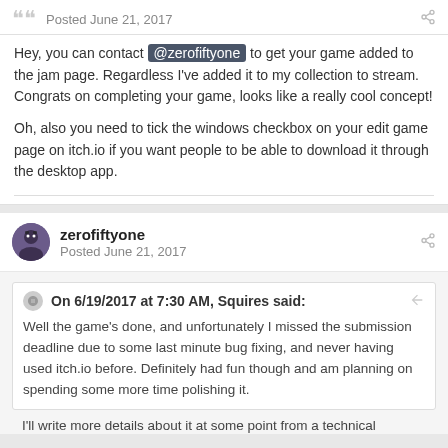Posted June 21, 2017
Hey, you can contact @zerofiftyone to get your game added to the jam page. Regardless I've added it to my collection to stream. Congrats on completing your game, looks like a really cool concept!
Oh, also you need to tick the windows checkbox on your edit game page on itch.io if you want people to be able to download it through the desktop app.
zerofiftyone
Posted June 21, 2017
On 6/19/2017 at 7:30 AM, Squires said:
Well the game's done, and unfortunately I missed the submission deadline due to some last minute bug fixing, and never having used itch.io before. Definitely had fun though and am planning on spending some more time polishing it.